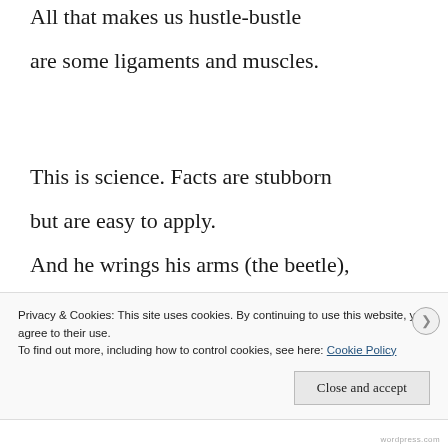All that makes us hustle-bustle
are some ligaments and muscles.
This is science. Facts are stubborn
but are easy to apply.
And he wrings his arms (the beetle),
Privacy & Cookies: This site uses cookies. By continuing to use this website, you agree to their use.
To find out more, including how to control cookies, see here: Cookie Policy
Close and accept
wordpress.com